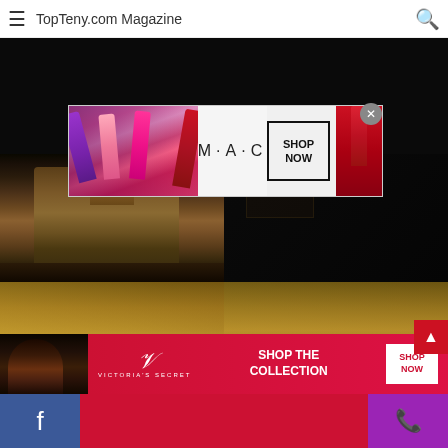TopTeny.com Magazine
[Figure (photo): Dark hero image, appears to be a person in dark clothing]
[Figure (photo): MAC cosmetics advertisement banner with lipsticks and SHOP NOW button]
[Figure (photo): 2x2 grid of photos: top-left castle/miniature building, top-right dark room, bottom-left gold ornate bathroom, bottom-right gold ornate room interior. CLOSE button overlay on bottom-right.]
[Figure (photo): Victoria's Secret advertisement banner with SHOP THE COLLECTION and SHOP NOW button, featuring a woman with curly hair]